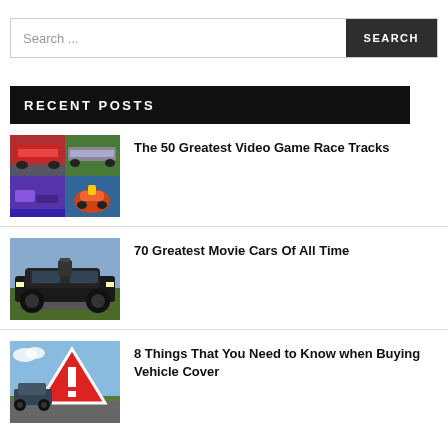Search ...
RECENT POSTS
[Figure (photo): Collage of video game race track screenshots including Mario Kart and racing games]
The 50 Greatest Video Game Race Tracks
[Figure (photo): Black muscle car from movie, low angle shot on road]
70 Greatest Movie Cars Of All Time
[Figure (photo): Car on road with red triangle warning sign]
8 Things That You Need to Know when Buying Vehicle Cover